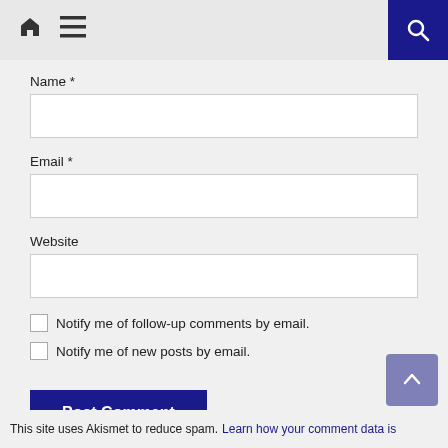Home  Menu  Search
Name *
Email *
Website
Notify me of follow-up comments by email.
Notify me of new posts by email.
Post Comment
This site uses Akismet to reduce spam. Learn how your comment data is